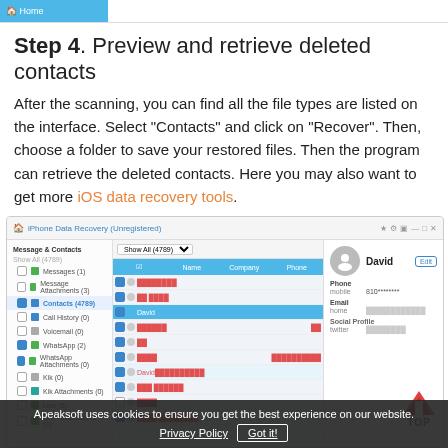[Figure (screenshot): Navigation bar with Home icon highlighted in blue]
Step 4. Preview and retrieve deleted contacts
After the scanning, you can find all the file types are listed on the interface. Select "Contacts" and click on "Recover". Then, choose a folder to save your restored files. Then the program can retrieve the deleted contacts. Here you may also want to get more iOS data recovery tools.
[Figure (screenshot): iPhone Data Recovery (Unregistered) software interface showing Contacts (4789) selected in the left sidebar, a list of contacts with redacted names in the center, and a contact detail panel on the right showing a contact named David with phone and email fields. A TOP arrow logo is visible in the bottom right of the panel.]
Apeaksoft uses cookies to ensure you get the best experience on our website.
Privacy Policy   Got it!